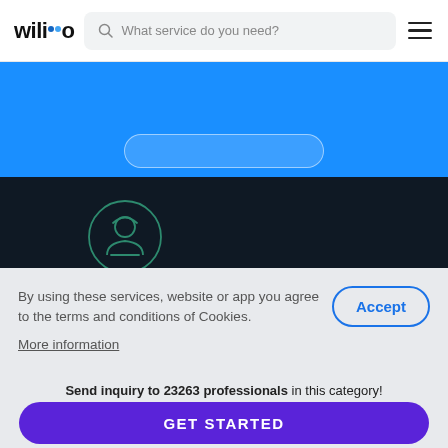wilio — What service do you need?
[Figure (screenshot): Blue banner section of a service marketplace website]
[Figure (illustration): Dark background section showing a circular online user icon with 'ONLINE' text label in green]
By using these services, website or app you agree to the terms and conditions of Cookies.
More information
Send inquiry to 23263 professionals in this category!
GET STARTED